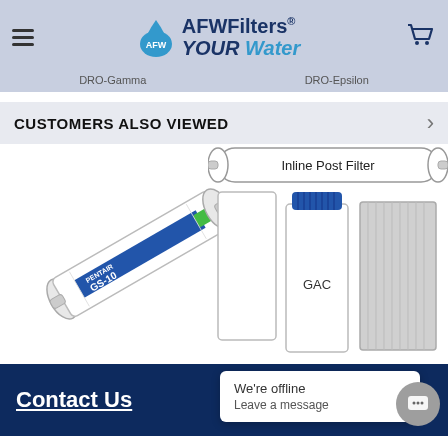[Figure (screenshot): AFWFilters website header with logo, hamburger menu, cart icon, navigation tabs for DRO-Gamma and DRO-Epsilon]
CUSTOMERS ALSO VIEWED
[Figure (illustration): Product images: Pentair GS-10 inline post filter on left, and three filter cartridges on right labeled Sediment-5µ, GAC, and Carbon Block-5µ with Inline Post Filter label above]
We're offline
Leave a message
Contact Us